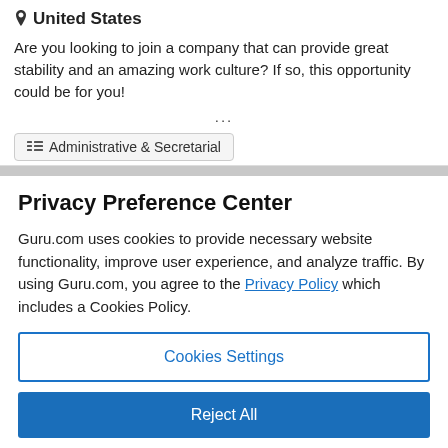📍 United States
Are you looking to join a company that can provide great stability and an amazing work culture? If so, this opportunity could be for you!
...
Administrative & Secretarial
Privacy Preference Center
Guru.com uses cookies to provide necessary website functionality, improve user experience, and analyze traffic. By using Guru.com, you agree to the Privacy Policy which includes a Cookies Policy.
Cookies Settings
Reject All
(Accept All button partially visible)